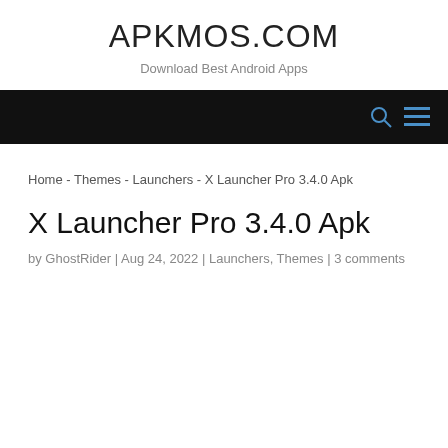APKMOS.COM
Download Best Android Apps
[Figure (other): Black navigation bar with search icon and hamburger menu icon in blue on the right side]
Home - Themes - Launchers - X Launcher Pro 3.4.0 Apk
X Launcher Pro 3.4.0 Apk
by GhostRider | Aug 24, 2022 | Launchers, Themes | 3 comments